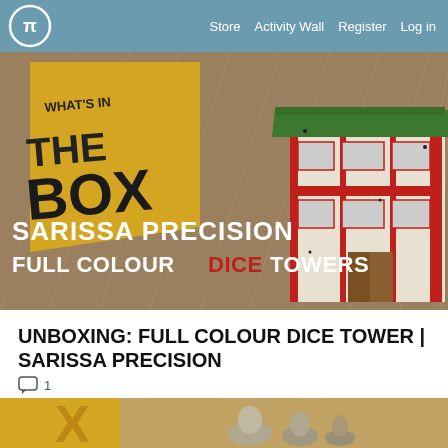Store  Activity Wall  Register  Log in
[Figure (photo): What's in the Box promotional banner showing a Japanese-style pagoda building with red and white exterior and green roof on a wooden/rain background. Text overlay reads 'SARISSA PRECISION FULL COLOUR DICE TOWERS']
UNBOXING: FULL COLOUR DICE TOWER | SARISSA PRECISION
1 comment
[Figure (photo): Partial view of another 'What's in the Box' banner showing yellow/orange dotted pattern and what appears to be miniature figures]